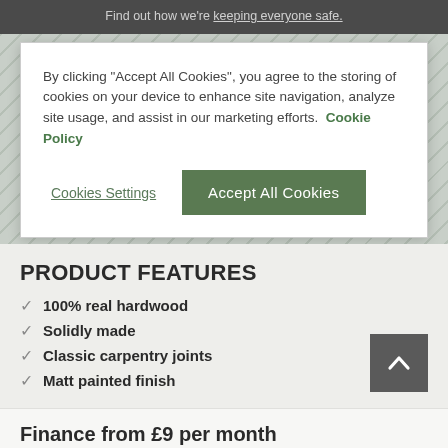Find out how we're keeping everyone safe.
By clicking “Accept All Cookies”, you agree to the storing of cookies on your device to enhance site navigation, analyze site usage, and assist in our marketing efforts. Cookie Policy
Cookies Settings
Accept All Cookies
PRODUCT FEATURES
100% real hardwood
Solidly made
Classic carpentry joints
Matt painted finish
Finance from £9 per month